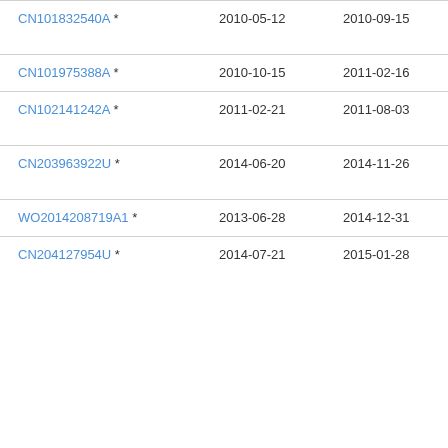| Patent | Filing Date | Publication Date | Notes |
| --- | --- | --- | --- |
| CN101832540A * | 2010-05-12 | 2010-09-15 | □□□□□□□ |
| CN101975388A * | 2010-10-15 | 2011-02-16 | □□□□ |
| CN102141242A * | 2011-02-21 | 2011-08-03 | □□□□□ |
| CN203963922U * | 2014-06-20 | 2014-11-26 | □□□□□□□ |
| WO2014208719A1 * | 2013-06-28 | 2014-12-31 | □□□□ |
| CN204127954U * | 2014-07-21 | 2015-01-28 | □□□□□□□ |